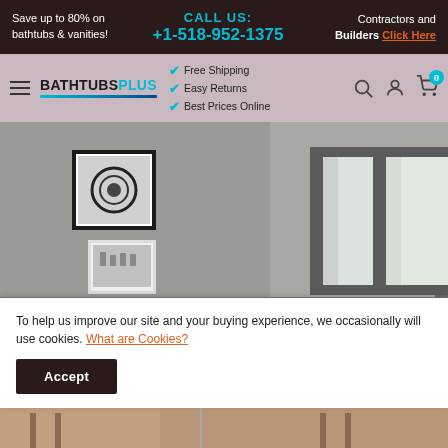Save up to 80% on bathtubs & vanities! | CALL US: +1-518-952-1375 | Contractors and Builders Click Here
[Figure (logo): BathtubsPlus logo with teal underline, navigation bar with hamburger menu, Free Shipping, Easy Returns, Best Prices Online checkmarks, search, user, and cart icons]
[Figure (photo): Interior room with two framed wall mirrors with dark borders and two framed artworks on a grey wall]
To help us improve our site and your buying experience, we occasionally will use cookies. What are Cookies?
Accept